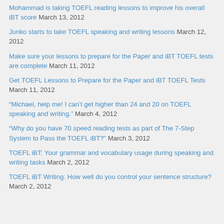Mohammad is taking TOEFL reading lessons to improve his overall iBT score March 13, 2012
Junko starts to take TOEFL speaking and writing lessons March 12, 2012
Make sure your lessons to prepare for the Paper and iBT TOEFL tests are complete March 11, 2012
Get TOEFL Lessons to Prepare for the Paper and iBT TOEFL Tests March 11, 2012
“Michael, help me! I can’t get higher than 24 and 20 on TOEFL speaking and writing.” March 4, 2012
“Why do you have 70 speed reading tests as part of The 7-Step System to Pass the TOEFL iBT?” March 3, 2012
TOEFL iBT: Your grammar and vocabulary usage during speaking and writing tasks March 2, 2012
TOEFL iBT Writing: How well do you control your sentence structure? March 2, 2012